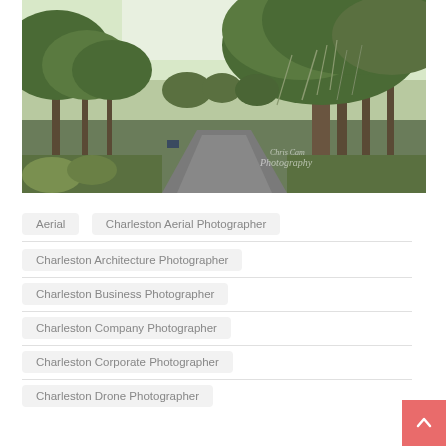[Figure (photo): A scenic tree-lined road with large oak trees draped in Spanish moss, lush greenery on both sides, with a watermark reading 'Chris Cam Photography' in the bottom right corner.]
Aerial
Charleston Aerial Photographer
Charleston Architecture Photographer
Charleston Business Photographer
Charleston Company Photographer
Charleston Corporate Photographer
Charleston Drone Photographer